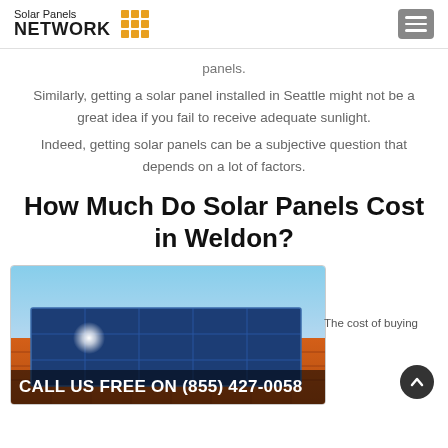Solar Panels NETWORK
panels.
Similarly, getting a solar panel installed in Seattle might not be a great idea if you fail to receive adequate sunlight.
Indeed, getting solar panels can be a subjective question that depends on a lot of factors.
How Much Do Solar Panels Cost in Weldon?
[Figure (photo): Solar panels mounted on an orange tiled roof against a blue sky, with a sun glare visible on the panels]
The cost of buying
CALL US FREE ON (855) 427-0058